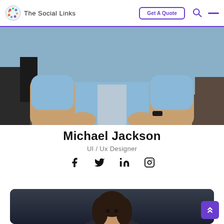The Social Links — navigation with Get A Quote button, search, and menu
[Figure (photo): Close-up photo of a person's torso wearing a light blue button-up shirt over a grey undershirt, hands clasped in front]
Michael Jackson
UI / Ux Designer
[Figure (infographic): Social media icons: Facebook, Twitter, LinkedIn, Instagram]
[Figure (photo): Photo of a woman with long dark hair in front of a dark background]